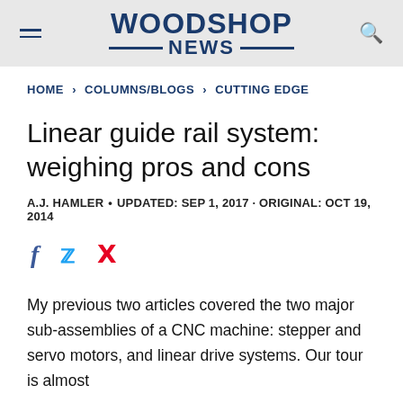WOODSHOP NEWS
HOME > COLUMNS/BLOGS > CUTTING EDGE
Linear guide rail system: weighing pros and cons
A.J. HAMLER • UPDATED: SEP 1, 2017 · ORIGINAL: OCT 19, 2014
[Figure (other): Social sharing icons: Facebook, Twitter, Pinterest]
My previous two articles covered the two major sub-assemblies of a CNC machine: stepper and servo motors, and linear drive systems. Our tour is almost